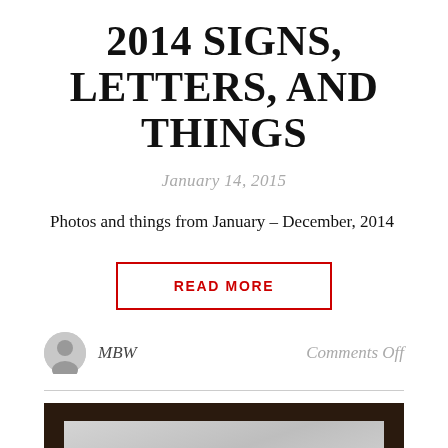2014 SIGNS, LETTERS, AND THINGS
January 14, 2015
Photos and things from January – December, 2014
READ MORE
MBW
Comments Off
[Figure (photo): Photo of a sign with cursive text reading 'Ask us' partially visible, on a metallic background with dark wooden frame]